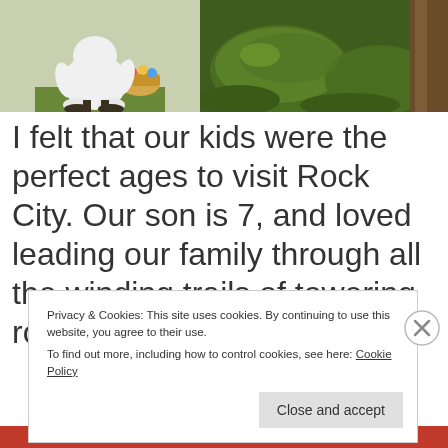[Figure (photo): Two photos side by side: left shows a person in a large white Easter bunny costume with a basket of colorful eggs; right shows a mossy green rock formation in a wooded area.]
I felt that our kids were the perfect ages to visit Rock City. Our son is 7, and loved leading our family through all the winding trails of towering rock walls.
Privacy & Cookies: This site uses cookies. By continuing to use this website, you agree to their use.
To find out more, including how to control cookies, see here: Cookie Policy
Close and accept